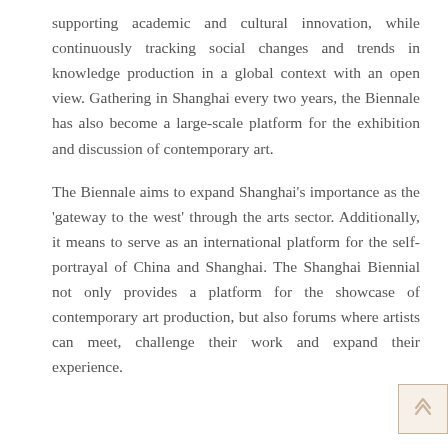supporting academic and cultural innovation, while continuously tracking social changes and trends in knowledge production in a global context with an open view. Gathering in Shanghai every two years, the Biennale has also become a large-scale platform for the exhibition and discussion of contemporary art.
The Biennale aims to expand Shanghai's importance as the 'gateway to the west' through the arts sector. Additionally, it means to serve as an international platform for the self-portrayal of China and Shanghai. The Shanghai Biennial not only provides a platform for the showcase of contemporary art production, but also forums where artists can meet, challenge their work and expand their experience.